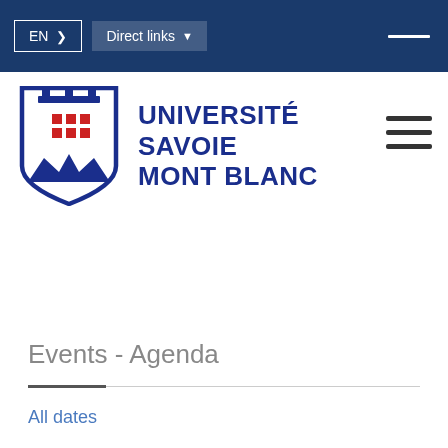EN > | Direct links ▾
[Figure (logo): Université Savoie Mont Blanc logo with shield crest on left and blue bold text UNIVERSITÉ SAVOIE MONT BLANC on right]
Events - Agenda
All dates